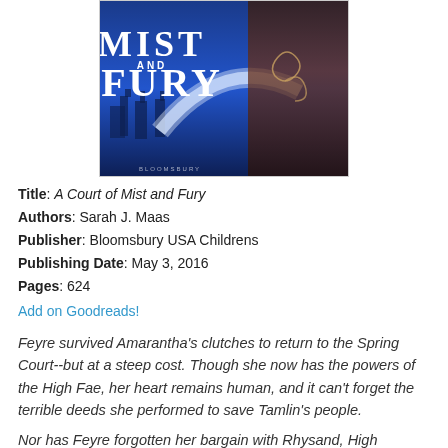[Figure (illustration): Book cover of 'A Court of Mist and Fury' by Sarah J. Maas, published by Bloomsbury. Blue fantasy cover with large white text reading MIST AND FURY, with a swoosh/arc design and a dark cloaked figure on the right side.]
Title: A Court of Mist and Fury
Authors: Sarah J. Maas
Publisher: Bloomsbury USA Childrens
Publishing Date: May 3, 2016
Pages: 624
Add on Goodreads!
Feyre survived Amarantha's clutches to return to the Spring Court--but at a steep cost. Though she now has the powers of the High Fae, her heart remains human, and it can't forget the terrible deeds she performed to save Tamlin's people.
Nor has Feyre forgotten her bargain with Rhysand, High